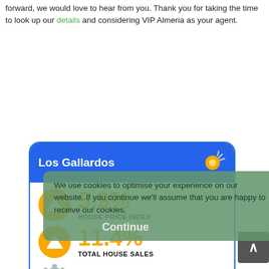forward, we would love to hear from you. Thank you for taking the time to look up our details and considering VIP Almeria as your agent.
[Figure (infographic): Los Gallardos area stats card with blue header, sun icon, showing House Price Index up 5.9%, Total House Sales up 11.4%, 297 (partially visible), and Total Population 2.8k]
We use cookies to optimise your experience on our website. If you continue we'll assume that you are happy to receive our cookies.
Continue